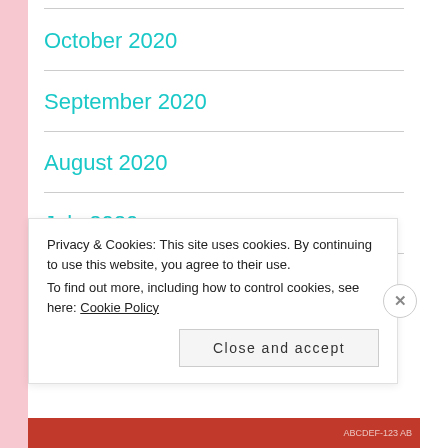October 2020
September 2020
August 2020
July 2020
June 2020
May 2020
Privacy & Cookies: This site uses cookies. By continuing to use this website, you agree to their use.
To find out more, including how to control cookies, see here: Cookie Policy
Close and accept